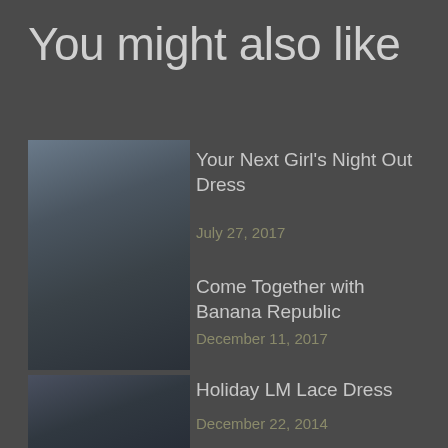You might also like
[Figure (photo): Fashion photo of a woman wearing a light blue off-shoulder dress]
Your Next Girl’s Night Out Dress
July 27, 2017
Come Together with Banana Republic
December 11, 2017
[Figure (photo): Fashion photo of a woman in dark outfit]
Holiday LM Lace Dress
December 22, 2014